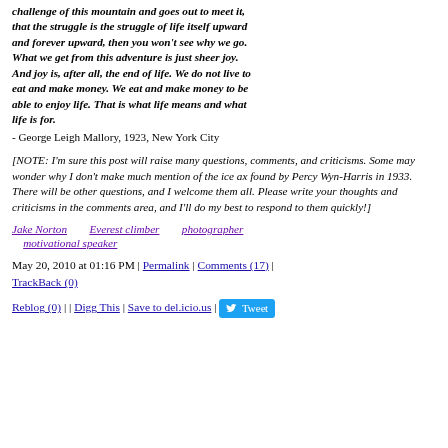challenge of this mountain and goes out to meet it, that the struggle is the struggle of life itself upward and forever upward, then you won't see why we go. What we get from this adventure is just sheer joy. And joy is, after all, the end of life. We do not live to eat and make money. We eat and make money to be able to enjoy life. That is what life means and what life is for.
- George Leigh Mallory, 1923, New York City
[NOTE: I'm sure this post will raise many questions, comments, and criticisms. Some may wonder why I don't make much mention of the ice ax found by Percy Wyn-Harris in 1933. There will be other questions, and I welcome them all. Please write your thoughts and criticisms in the comments area, and I'll do my best to respond to them quickly!]
Jake Norton    Everest climber    photographer    motivational speaker
May 20, 2010 at 01:16 PM | Permalink | Comments (17) | TrackBack (0)
Reblog (0) | | Digg This | Save to del.icio.us | Tweet